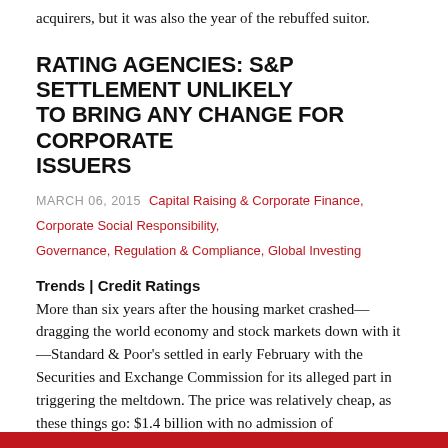acquirers, but it was also the year of the rebuffed suitor.
RATING AGENCIES: S&P SETTLEMENT UNLIKELY TO BRING ANY CHANGE FOR CORPORATE ISSUERS
MARCH 06, 2015  Capital Raising & Corporate Finance, Corporate Social Responsibility, Governance, Regulation & Compliance, Global Investing
Trends | Credit Ratings
More than six years after the housing market crashed—dragging the world economy and stock markets down with it—Standard & Poor's settled in early February with the Securities and Exchange Commission for its alleged part in triggering the meltdown. The price was relatively cheap, as these things go: $1.4 billion with no admission of wrongdoing.